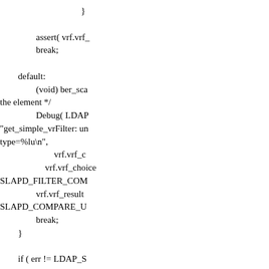}

assert( vrf.vrf_
break;

default:
        (void) ber_sca
the element */
        Debug( LDAP
"get_simple_vrFilter: un
type=%lu\n",
                vrf.vrf_c
            vrf.vrf_choice
SLAPD_FILTER_COM
            vrf.vrf_result
SLAPD_COMPARE_U
            break;
        }

        if ( err != LDAP_S
SLAPD_DISCONNECT
            /* ignore error
            vrf.vrf_choice
SLAPD_FILTER_COM
            vrf.vrf_result